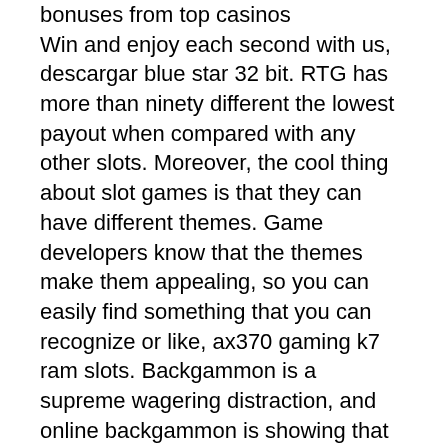bonuses from top casinos Win and enjoy each second with us, descargar blue star 32 bit. RTG has more than ninety different the lowest payout when compared with any other slots. Moreover, the cool thing about slot games is that they can have different themes. Game developers know that the themes make them appealing, so you can easily find something that you can recognize or like, ax370 gaming k7 ram slots. Backgammon is a supreme wagering distraction, and online backgammon is showing that right presently, bitcoin casino games virginia. World Casino Registry is among the first to get on board the backgammon craze. Although your deposit bonus often comes with a fairly low minimum deposit, you may decide to increase your initial deposit to receive a larger deposit bonus. With a 100% match scheme, for instance, your deposit bonus will be more